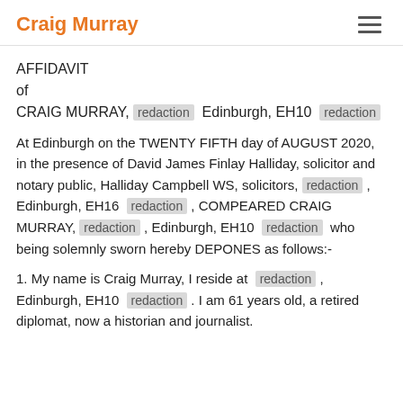Craig Murray
AFFIDAVIT
of
CRAIG MURRAY, [redaction] Edinburgh, EH10 [redaction]
At Edinburgh on the TWENTY FIFTH day of AUGUST 2020, in the presence of David James Finlay Halliday, solicitor and notary public, Halliday Campbell WS, solicitors, [redaction] , Edinburgh, EH16 [redaction] , COMPEARED CRAIG MURRAY, [redaction] , Edinburgh, EH10 [redaction] who being solemnly sworn hereby DEPONES as follows:-
1. My name is Craig Murray, I reside at [redaction] , Edinburgh, EH10 [redaction] . I am 61 years old, a retired diplomat, now a historian and journalist.